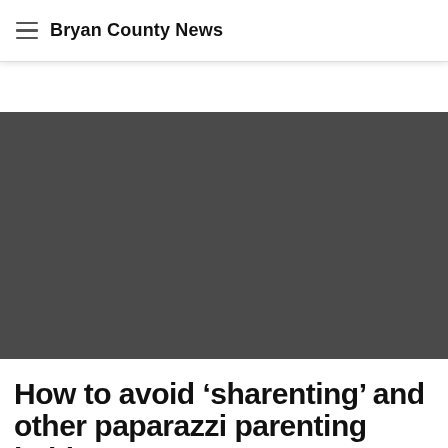Bryan County News
[Figure (photo): Large dark gray image placeholder for article hero image]
How to avoid ‘sharenting’ and other paparazzi parenting habits